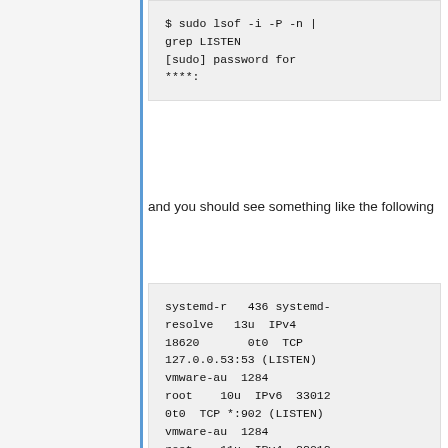$ sudo lsof -i -P -n | grep LISTEN
[sudo] password for
****:
and you should see something like the following
systemd-r   436 systemd-resolve   13u  IPv4
18620       0t0  TCP
127.0.0.53:53 (LISTEN)
vmware-au  1284
root    10u  IPv6  33012
0t0  TCP *:902 (LISTEN)
vmware-au  1284
root    11u  IPv4  33013
0t0  TCP *:902 (LISTEN)
sshd        8786
root    3u  IPv4 114131
0t0  TCP *:22 (LISTEN)